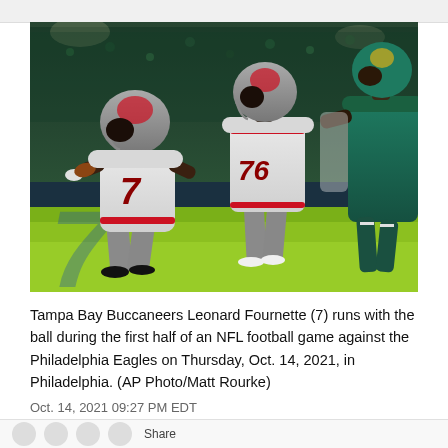[Figure (photo): Tampa Bay Buccaneers players in white uniforms running during an NFL night game against the Philadelphia Eagles. Player #7 (Leonard Fournette) is in the foreground running with the ball, player #76 is behind him, and a teal-uniformed Eagles player is to the right. The game is played on a green field with stadium lights and crowd in background.]
Tampa Bay Buccaneers Leonard Fournette (7) runs with the ball during the first half of an NFL football game against the Philadelphia Eagles on Thursday, Oct. 14, 2021, in Philadelphia. (AP Photo/Matt Rourke)
Oct. 14, 2021 09:27 PM EDT